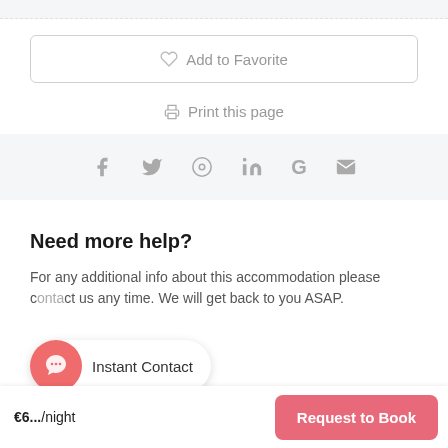[Figure (screenshot): Top gray bar with dashed border]
♡ Add to Favorite
🖨 Print this page
[Figure (infographic): Social share icons: Facebook, Twitter, Pinterest, LinkedIn, Google, Email]
Need more help?
For any additional info about this accommodation please contact us any time. We will get back to you ASAP.
Instant Contact
€6... /night
Request to Book